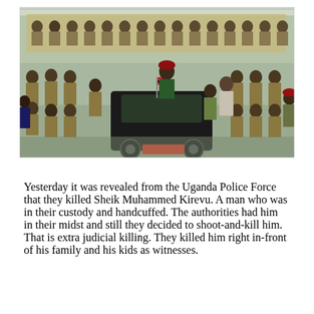[Figure (photo): A large military/police parade with dozens of uniformed soldiers in khaki standing in formation. A black Land Rover jeep is in the center, with a commanding officer standing in the open top vehicle. Other officers and civilians are visible around the vehicle. The setting appears to be an outdoor paved area.]
Yesterday it was revealed from the Uganda Police Force that they killed Sheik Muhammed Kirevu. A man who was in their custody and handcuffed. The authorities had him in their midst and still they decided to shoot-and-kill him. That is extra judicial killing. They killed him right in-front of his family and his kids as witnesses.